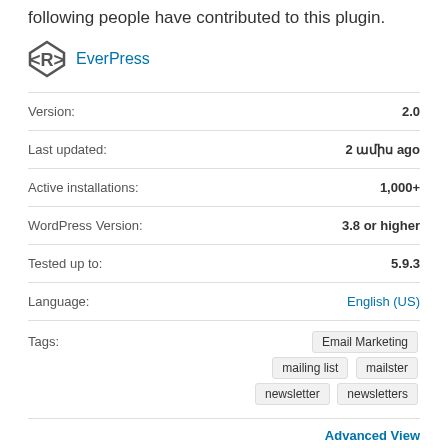following people have contributed to this plugin.
EverPress
| Label | Value |
| --- | --- |
| Version: | 2.0 |
| Last updated: | 2 ամիս ago |
| Active installations: | 1,000+ |
| WordPress Version: | 3.8 or higher |
| Tested up to: | 5.9.3 |
| Language: | English (US) |
| Tags: | Email Marketing  mailing list  mailster  newsletter  newsletters |
Advanced View